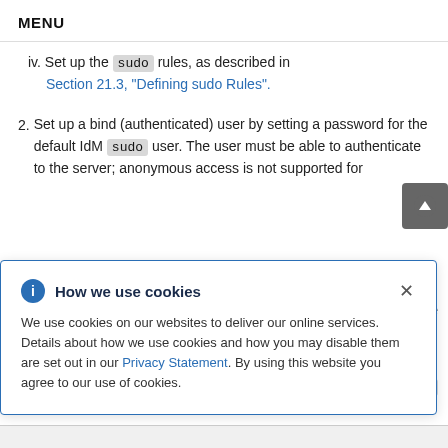MENU
iv. Set up the sudo rules, as described in Section 21.3, “Defining sudo Rules”.
2. Set up a bind (authenticated) user by setting a password for the default IdM sudo user. The user must be able to authenticate to the server; anonymous access is not supported for
How we use cookies — We use cookies on our websites to deliver our online services. Details about how we use cookies and how you may disable them are set out in our Privacy Statement. By using this website you agree to our use of cookies.